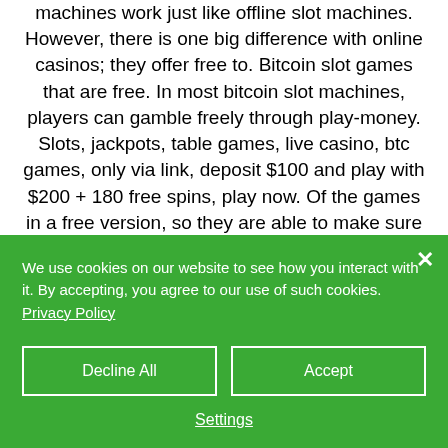machines work just like offline slot machines. However, there is one big difference with online casinos; they offer free to. Bitcoin slot games that are free. In most bitcoin slot machines, players can gamble freely through play-money. Slots, jackpots, table games, live casino, btc games, only via link, deposit $100 and play with $200 + 180 free spins, play now. Of the games in a free version, so they are able to make sure the game. At bovada we offer hundreds of exciting slots games to play for real money or to
We use cookies on our website to see how you interact with it. By accepting, you agree to our use of such cookies. Privacy Policy
Decline All
Accept
Settings